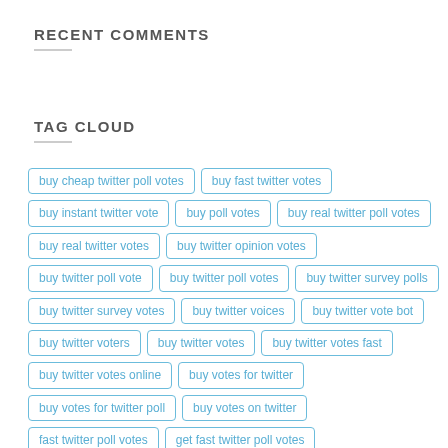RECENT COMMENTS
TAG CLOUD
buy cheap twitter poll votes
buy fast twitter votes
buy instant twitter vote
buy poll votes
buy real twitter poll votes
buy real twitter votes
buy twitter opinion votes
buy twitter poll vote
buy twitter poll votes
buy twitter survey polls
buy twitter survey votes
buy twitter voices
buy twitter vote bot
buy twitter voters
buy twitter votes
buy twitter votes fast
buy twitter votes online
buy votes for twitter
buy votes for twitter poll
buy votes on twitter
fast twitter poll votes
get fast twitter poll votes
get fast twitter votes